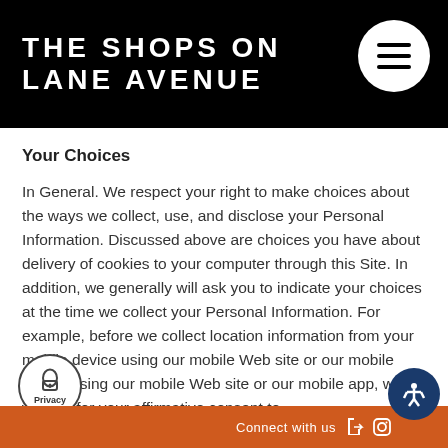THE SHOPS ON LANE AVENUE
Your Choices
In General. We respect your right to make choices about the ways we collect, use, and disclose your Personal Information. Discussed above are choices you have about delivery of cookies to your computer through this Site. In addition, we generally will ask you to indicate your choices at the time we collect your Personal Information. For example, before we collect location information from your mobile device using our mobile Web site or our mobile app, we will ask for your affirmative consent to do so. In addition, your mobile device will
Connect with us